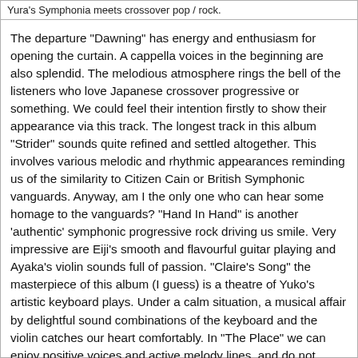Yura's Symphonia meets crossover pop / rock.
The departure "Dawning" has energy and enthusiasm for opening the curtain. A cappella voices in the beginning are also splendid. The melodious atmosphere rings the bell of the listeners who love Japanese crossover progressive or something. We could feel their intention firstly to show their appearance via this track. The longest track in this album "Strider" sounds quite refined and settled altogether. This involves various melodic and rhythmic appearances reminding us of the similarity to Citizen Cain or British Symphonic vanguards. Anyway, am I the only one who can hear some homage to the vanguards? "Hand In Hand" is another 'authentic' symphonic progressive rock driving us smile. Very impressive are Eiji's smooth and flavourful guitar playing and Ayaka's violin sounds full of passion. "Claire's Song" the masterpiece of this album (I guess) is a theatre of Yuko's artistic keyboard plays. Under a calm situation, a musical affair by delightful sound combinations of the keyboard and the violin catches our heart comfortably. In "The Place" we can enjoy positive voices and active melody lines, and do not forget such a catchy movement dominant all over the song. Pleasant